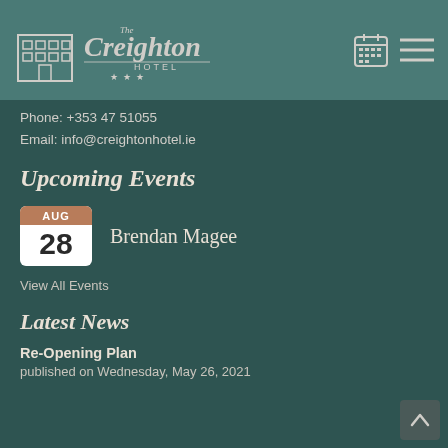The Creighton Hotel
Phone: +353 47 51055
Email: info@creightonhotel.ie
Upcoming Events
AUG 28 Brendan Magee
View All Events
Latest News
Re-Opening Plan
published on Wednesday, May 26, 2021